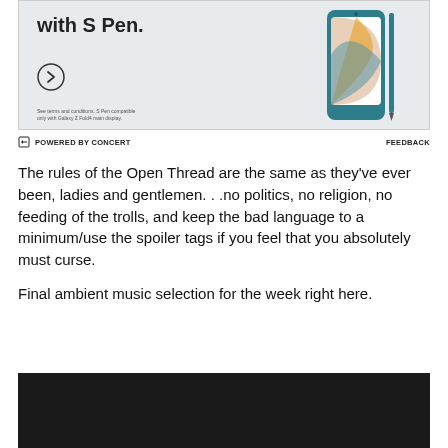[Figure (illustration): Advertisement banner: teal/dark Samsung phone with S Pen, gray background, circle arrow button, fine print text about S Pen compatibility]
POWERED BY CONCERT   FEEDBACK
The rules of the Open Thread are the same as they've ever been, ladies and gentlemen. . .no politics, no religion, no feeding of the trolls, and keep the bad language to a minimum/use the spoiler tags if you feel that you absolutely must curse.
Final ambient music selection for the week right here.
[Figure (screenshot): Dark/black video embed area at bottom of page]